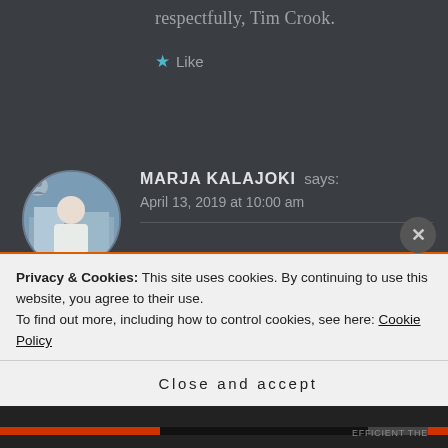respectfully, Tim Crook.
Like
MARJA KALAJOKI says:
April 13, 2019 at 10:00 am
Greetings from Turku, Finland! Our Yle channel released Mrs. Wilson this week. We just finished watching it, and I must say it was the most moving, exciting, enchanting tv
Privacy & Cookies: This site uses cookies. By continuing to use this website, you agree to their use.
To find out more, including how to control cookies, see here: Cookie Policy
Close and accept